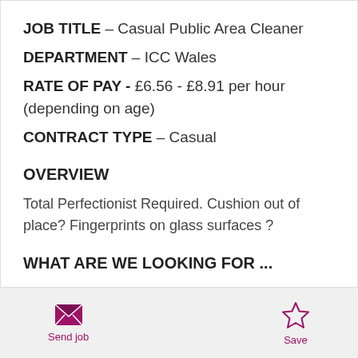JOB TITLE – Casual Public Area Cleaner
DEPARTMENT – ICC Wales
RATE OF PAY - £6.56 - £8.91 per hour (depending on age)
CONTRACT TYPE – Casual
OVERVIEW
Total Perfectionist Required. Cushion out of place? Fingerprints on glass surfaces ?
WHAT ARE WE LOOKING FOR ...
Send job | Save